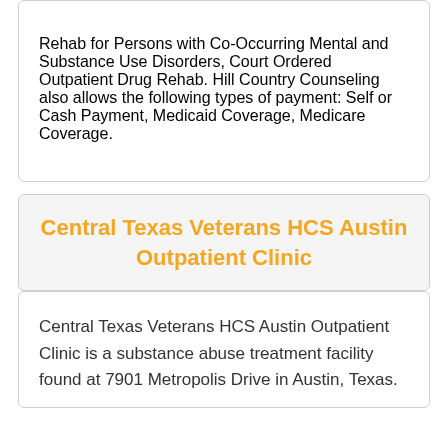Rehab for Persons with Co-Occurring Mental and Substance Use Disorders, Court Ordered Outpatient Drug Rehab. Hill Country Counseling also allows the following types of payment: Self or Cash Payment, Medicaid Coverage, Medicare Coverage.
Central Texas Veterans HCS Austin Outpatient Clinic
Central Texas Veterans HCS Austin Outpatient Clinic is a substance abuse treatment facility found at 7901 Metropolis Drive in Austin, Texas.